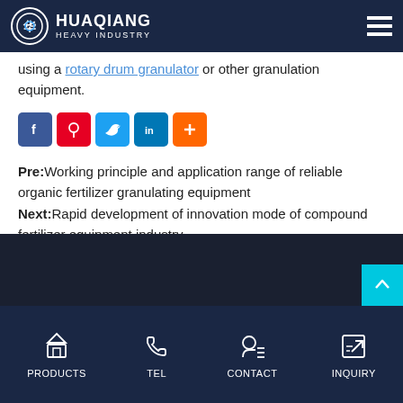HUAQIANG HEAVY INDUSTRY
using a rotary drum granulator or other granulation equipment.
[Figure (other): Social sharing buttons: Facebook, Pinterest, Twitter, LinkedIn, More (+)]
Pre:Working principle and application range of reliable organic fertilizer granulating equipment
Next:Rapid development of innovation mode of compound fertilizer equipment industry
PRODUCTS  TEL  CONTACT  INQUIRY